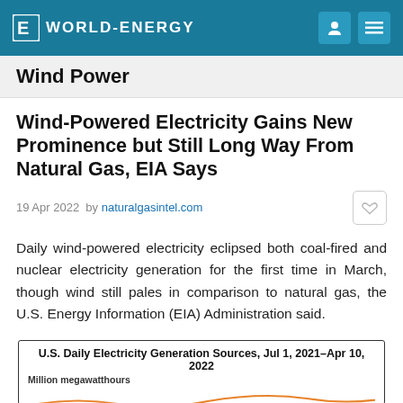WORLD-ENERGY
Wind Power
Wind-Powered Electricity Gains New Prominence but Still Long Way From Natural Gas, EIA Says
19 Apr 2022  by naturalgasintel.com
Daily wind-powered electricity eclipsed both coal-fired and nuclear electricity generation for the first time in March, though wind still pales in comparison to natural gas, the U.S. Energy Information (EIA) Administration said.
[Figure (other): Chart preview: U.S. Daily Electricity Generation Sources, Jul 1, 2021–Apr 10, 2022. Million megawatthours. Partial view of a line chart cut off at bottom of page.]